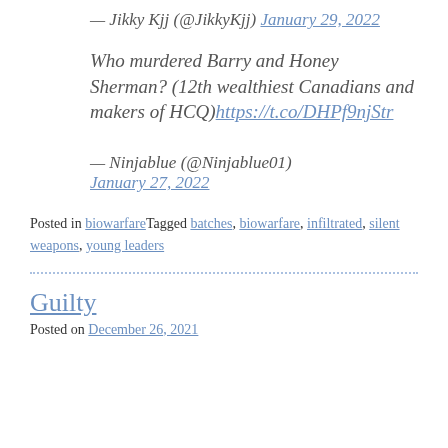— Jikky Kjj (@JikkyKjj) January 29, 2022
Who murdered Barry and Honey Sherman? (12th wealthiest Canadians and makers of HCQ)https://t.co/DHPf9njStr
— Ninjablue (@Ninjablue01) January 27, 2022
Posted in biowarfareTagged batches, biowarfare, infiltrated, silent weapons, young leaders
Guilty
Posted on December 26, 2021